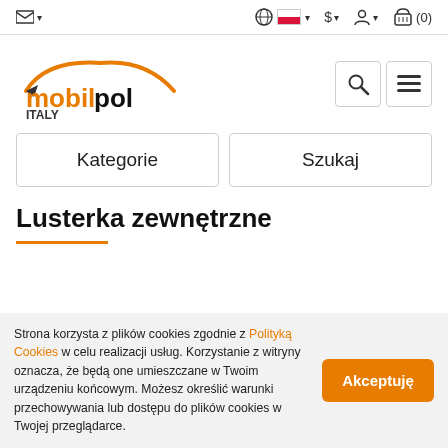✉ ▾  🌐 [PL flag] ▾  $ ▾  👤 ▾  🛒 (0)
[Figure (logo): Mobilpol Italy logo — orange car silhouette with orange and black text 'mobilpol' and 'ITALY' below]
Kategorie
Szukaj
Lusterka zewnętrzne
Strona korzysta z plików cookies zgodnie z Polityką Cookies w celu realizacji usług. Korzystanie z witryny oznacza, że będą one umieszczane w Twoim urządzeniu końcowym. Możesz określić warunki przechowywania lub dostępu do plików cookies w Twojej przeglądarce.